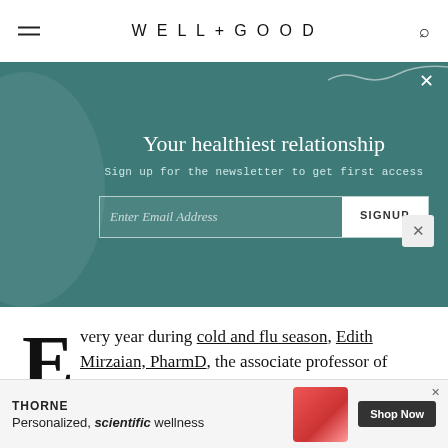WELL+GOOD
[Figure (infographic): Newsletter signup banner with teal background, decorative circle on left, title 'Your healthiest relationship', subtitle 'Sign up for the newsletter to get first access', and email input with SIGNUP button]
Every year during cold and flu season, Edith Mirzaian, PharmD, the associate professor of clinical pharmacy at the University of Southern California, finds herself setting the record straight—a lot. There are certain myths about colds
[Figure (infographic): Advertisement banner for Thorne: 'Personalized, scientific wellness' with Shop Now button and product image]